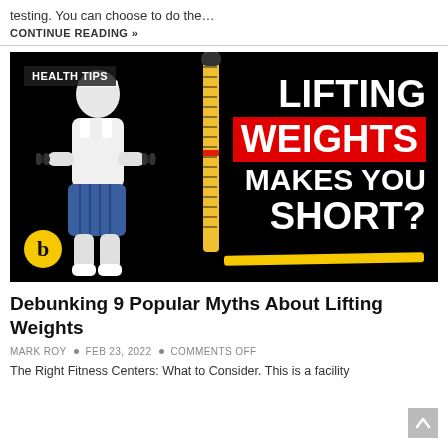testing. You can choose to do the…
CONTINUE READING »
[Figure (photo): Promotional thumbnail image with black background showing a man in athletic wear holding dumbbells beside a large tape measure, text reads 'LIFTING WEIGHTS MAKES YOU SHORT?' with a red highlight box on WEIGHTS, yellow underline, HEALTH TIPS badge, and yellow 'b' logo circle.]
Debunking 9 Popular Myths About Lifting Weights
MARK ROY • FEB 23, 2022 • COMMENTS OFF
The Right Fitness Centers: What to Consider. This is a facility…